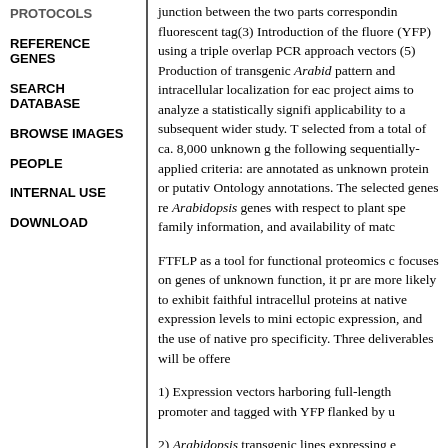PROTOCOLS
REFERENCE GENES
SEARCH DATABASE
BROWSE IMAGES
PEOPLE
INTERNAL USE
DOWNLOAD
junction between the two parts corresponding fluorescent tag(3) Introduction of the fluorescent (YFP) using a triple overlap PCR approach vectors (5) Production of transgenic Arabid pattern and intracellular localization for each project aims to analyze a statistically significant applicability to a subsequent wider study. To selected from a total of ca. 8,000 unknown genes the following sequentially-applied criteria: are annotated as unknown protein or putative Ontology annotations. The selected genes re Arabidopsis genes with respect to plant species family information, and availability of matc
FTFLP as a tool for functional proteomics focuses on genes of unknown function, it pr are more likely to exhibit faithful intracellul proteins at native expression levels to mini ectopic expression, and the use of native pro specificity. Three deliverables will be offered
1) Expression vectors harboring full-length promoter and tagged with YFP flanked by u
2) Arabidopsis transgenic lines expressing e